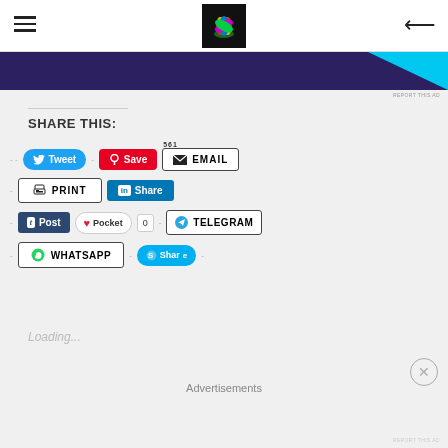[Figure (screenshot): Website navigation bar with hamburger menu icon on left, colorful lotus flower logo in center on black background, and back arrow icon on right]
[Figure (screenshot): Advertisement banner with dark purple/navy background and cyan triangle on right edge, with REPORT THIS AD text below]
SHARE THIS:
[Figure (screenshot): Social sharing buttons including Tweet (blue), Save/Pinterest (red), Email (bordered, with 561 count), Print (bordered), LinkedIn Share (blue), Post/Tumblr (dark blue), Pocket, count 0, Telegram (bordered), WhatsApp (bordered), Skype Share (cyan)]
Loading...
Advertisements